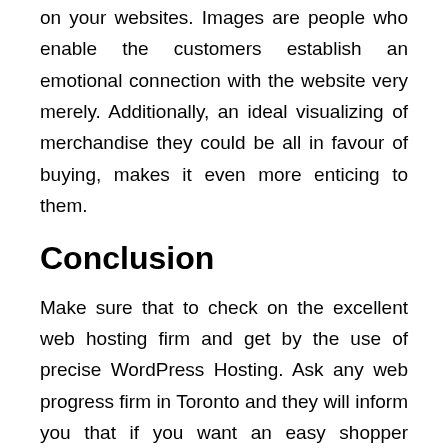on your websites. Images are people who enable the customers establish an emotional connection with the website very merely. Additionally, an ideal visualizing of merchandise they could be all in favour of buying, makes it even more enticing to them.
Conclusion
Make sure that to check on the excellent web hosting firm and get by the use of precise WordPress Hosting. Ask any web progress firm in Toronto and they will inform you that if you want an easy shopper expertise, WordPress is the way in which to go. The company has always prioritized making it easy for